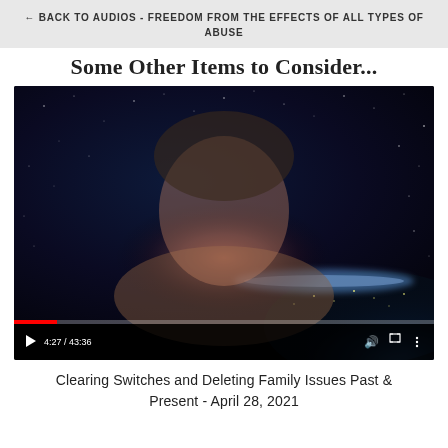← BACK TO AUDIOS - FREEDOM FROM THE EFFECTS OF ALL TYPES OF ABUSE
Some Other Items to Consider...
[Figure (screenshot): Video player screenshot showing a middle-aged man with glasses and a mustache, wearing a floral shirt, against a space/earth background. Video timestamp shows 4:27 / 43:36 with playback controls.]
Clearing Switches and Deleting Family Issues Past & Present - April 28, 2021